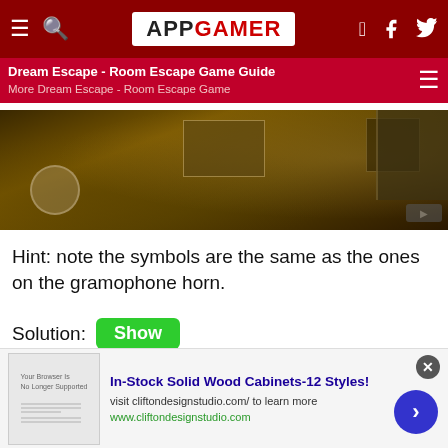APP GAMER — Dream Escape - Room Escape Game Guide | More Dream Escape - Room Escape Game
[Figure (screenshot): Game screenshot showing a dark room interior with wooden elements, a circular dial on the left, a central panel, and a TV unit on the right.]
Hint: note the symbols are the same as the ones on the gramophone horn.
Solution: [Show]
Collect a Can.
[Figure (infographic): Advertisement banner: In-Stock Solid Wood Cabinets-12 Styles! visit cliftondesignstudio.com/ to learn more. www.cliftondesignstudio.com]